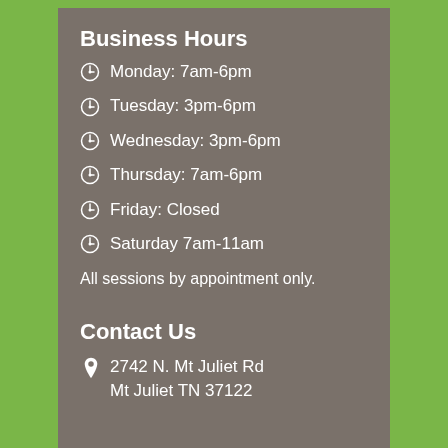Business Hours
Monday: 7am-6pm
Tuesday: 3pm-6pm
Wednesday: 3pm-6pm
Thursday: 7am-6pm
Friday: Closed
Saturday 7am-11am
All sessions by appointment only.
Contact Us
2742 N. Mt Juliet Rd Mt Juliet TN 37122